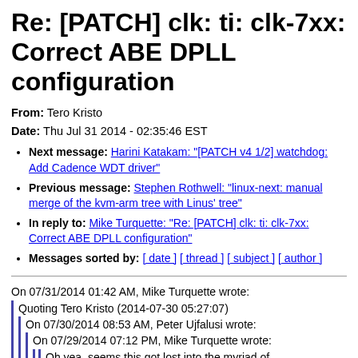Re: [PATCH] clk: ti: clk-7xx: Correct ABE DPLL configuration
From: Tero Kristo
Date: Thu Jul 31 2014 - 02:35:46 EST
Next message: Harini Katakam: "[PATCH v4 1/2] watchdog: Add Cadence WDT driver"
Previous message: Stephen Rothwell: "linux-next: manual merge of the kvm-arm tree with Linus' tree"
In reply to: Mike Turquette: "Re: [PATCH] clk: ti: clk-7xx: Correct ABE DPLL configuration"
Messages sorted by: [ date ] [ thread ] [ subject ] [ author ]
On 07/31/2014 01:42 AM, Mike Turquette wrote:
  Quoting Tero Kristo (2014-07-30 05:27:07)
    On 07/30/2014 08:53 AM, Peter Ujfalusi wrote:
      On 07/29/2014 07:12 PM, Mike Turquette wrote:
        Oh yea, seems this got lost into the myriad of branches I have. I can push